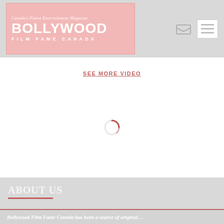[Figure (logo): Bollywood Film Fame Canada logo — pink/rose background with white text. Tagline: 'Canada's Finest Entertainment Magazine'. Main title: 'BOLLYWOOD' in large bold letters. Subtitle: 'FILM FAME CANADA'.]
SEE MORE VIDEO
[Figure (other): Loading spinner icon — circular arc in rose/red color indicating content is loading.]
ABOUT US
Bollywood Film Fame Canada has been a source of original…